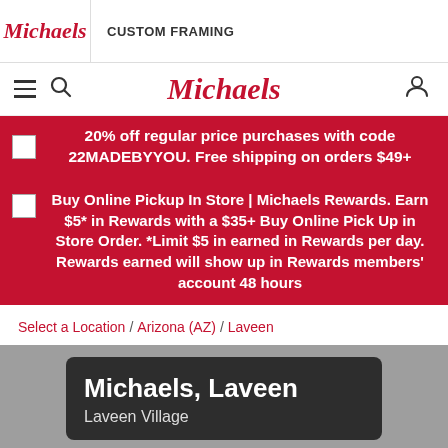[Figure (screenshot): Michaels website header with logo and CUSTOM FRAMING text]
[Figure (screenshot): Michaels website navigation bar with hamburger menu, search icon, Michaels script logo, and user account icon]
20% off regular price purchases with code 22MADEBYYOU. Free shipping on orders $49+
Buy Online Pickup In Store | Michaels Rewards. Earn $5* in Rewards with a $35+ Buy Online Pick Up in Store Order. *Limit $5 in earned in Rewards per day. Rewards earned will show up in Rewards members' account 48 hours
Select a Location / Arizona (AZ) / Laveen
[Figure (photo): Michaels store exterior photo with dark overlay card showing Michaels, Laveen and Laveen Village text]